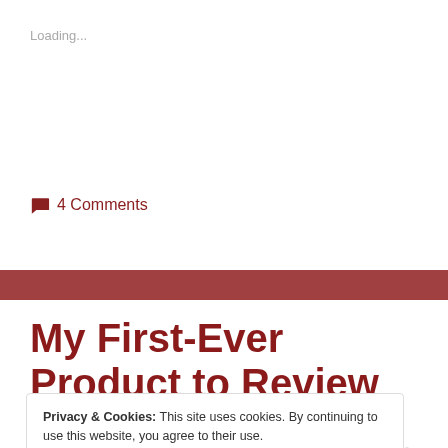Loading...
4 Comments
My First-Ever Product to Review
Privacy & Cookies: This site uses cookies. By continuing to use this website, you agree to their use.
To find out more, including how to control cookies, see here: Cookie Policy
Close and accept